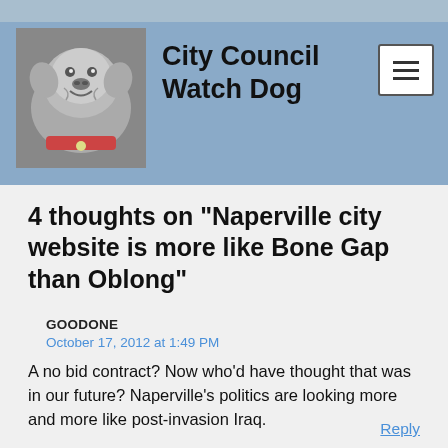City Council Watch Dog
4 thoughts on “Naperville city website is more like Bone Gap than Oblong”
GOODONE
October 17, 2012 at 1:49 PM
A no bid contract? Now who’d have thought that was in our future? Naperville’s politics are looking more and more like post-invasion Iraq.
Reply